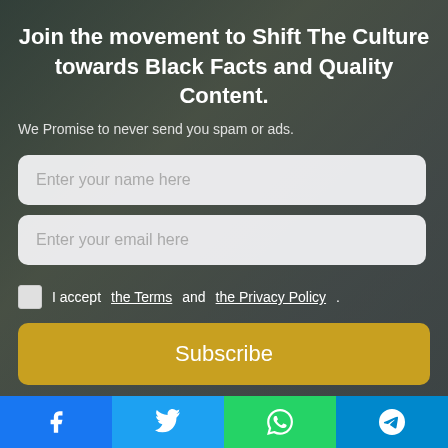Join the movement to Shift The Culture towards Black Facts and Quality Content.
We Promise to never send you spam or ads.
Enter your name here
Enter your email here
I accept the Terms and the Privacy Policy.
Subscribe
congressional waiv... of the Pentagon.
⚡ by Convertful
Civilian control of the military is supposed to put responsibility for the country's strategic decision-making in the hands of the civilian political leaders rather than